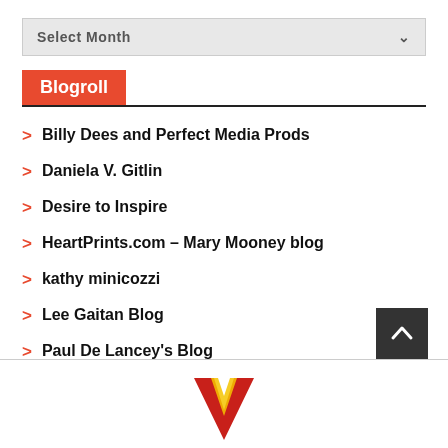Select Month
Blogroll
Billy Dees and Perfect Media Prods
Daniela V. Gitlin
Desire to Inspire
HeartPrints.com – Mary Mooney blog
kathy minicozzi
Lee Gaitan Blog
Paul De Lancey's Blog
You Just Have to Laugh -Cathy Sikorski
[Figure (logo): Red and yellow V-shaped logo at the bottom of the page]